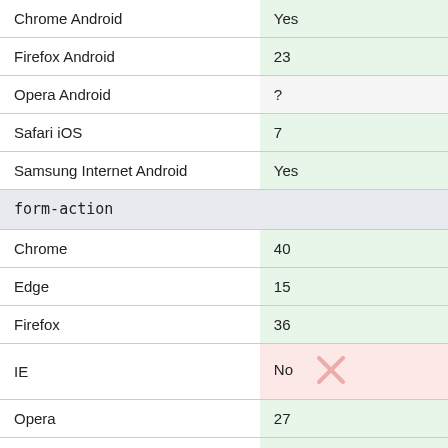| Browser | Version |
| --- | --- |
| Chrome Android | Yes |
| Firefox Android | 23 |
| Opera Android | ? |
| Safari iOS | 7 |
| Samsung Internet Android | Yes |
| form-action |  |
| Chrome | 40 |
| Edge | 15 |
| Firefox | 36 |
| IE | No |
| Opera | 27 |
| Safari | 10 |